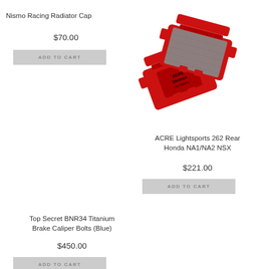Nismo Racing Radiator Cap
$70.00
ADD TO CART
[Figure (photo): Two red ACRE Lightsports brake pads, one face-up showing grey friction material, one face-down showing red backing with 'ACRE BRAKES Lite Sports' text]
ACRE Lightsports 262 Rear Honda NA1/NA2 NSX
$221.00
ADD TO CART
Top Secret BNR34 Titanium Brake Caliper Bolts (Blue)
$450.00
ADD TO CART